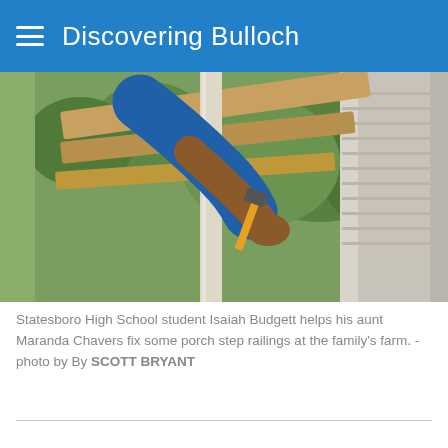Discovering Bulloch
[Figure (photo): A person holding a tool works on wooden porch step railings at a farm, with green foliage visible in the background.]
Statesboro High School student Isaiah Budgett helps his aunt Maranda Chavers fix some porch step railings at the family's farm. - photo by By SCOTT BRYANT